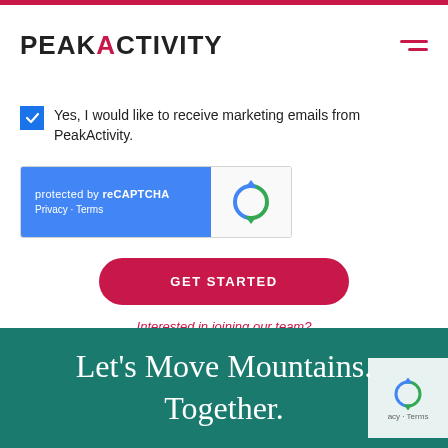[Figure (logo): PeakActivity logo with red accent on A]
Yes, I would like to receive marketing emails from PeakActivity.
[Figure (screenshot): reCAPTCHA widget with blue background showing 'protected by reCAPTCHA' and Privacy - Terms links, with reCAPTCHA logo on grey right side]
GET STARTED
Interested in joining our team?
Let's Move Mountains. Together.